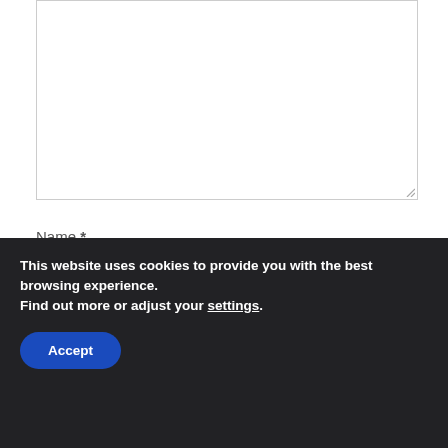[Figure (screenshot): Top portion of a web comment form showing a large empty textarea with a resize handle at the bottom-right corner.]
Name *
[Figure (screenshot): Name input field (empty text box)]
Email *
[Figure (screenshot): Email input field (empty text box)]
Website
[Figure (screenshot): Website input field (partially visible empty text box)]
This website uses cookies to provide you with the best browsing experience.
Find out more or adjust your settings.
Accept